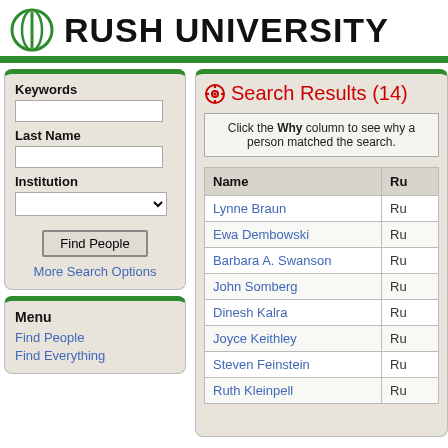RUSH UNIVERSITY
Keywords
Last Name
Institution
Find People
More Search Options
Menu
Find People
Find Everything
Search Results (14)
Click the Why column to see why a person matched the search.
| Name | Ru |
| --- | --- |
| Lynne Braun | Ru |
| Ewa Dembowski | Ru |
| Barbara A. Swanson | Ru |
| John Somberg | Ru |
| Dinesh Kalra | Ru |
| Joyce Keithley | Ru |
| Steven Feinstein | Ru |
| Ruth Kleinpell | Ru |